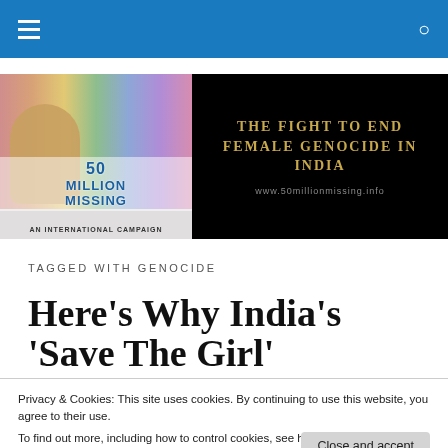Navigation bar with hamburger menu and search icon
[Figure (logo): 50 Million Missing - An International Campaign logo with children image on left, and 'THE FIGHT TO END FEMALE GENOCIDE IN INDIA / www.50millionmissing.info' banner on black background on right]
TAGGED WITH GENOCIDE
Here's Why India's 'Save The Girl' Campaign Will Not Stop
Privacy & Cookies: This site uses cookies. By continuing to use this website, you agree to their use.
To find out more, including how to control cookies, see here: Cookie Policy
Close and accept